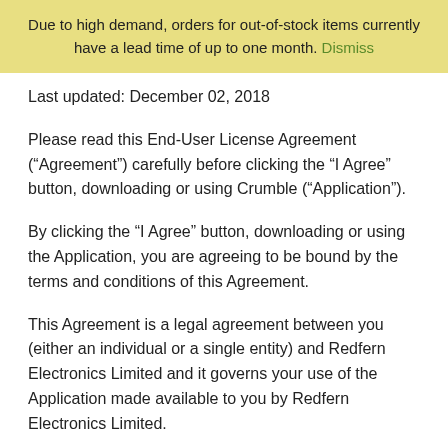Due to high demand, orders for out-of-stock items currently have a lead time of up to one month. Dismiss
Last updated: December 02, 2018
Please read this End-User License Agreement (“Agreement”) carefully before clicking the “I Agree” button, downloading or using Crumble (“Application”).
By clicking the “I Agree” button, downloading or using the Application, you are agreeing to be bound by the terms and conditions of this Agreement.
This Agreement is a legal agreement between you (either an individual or a single entity) and Redfern Electronics Limited and it governs your use of the Application made available to you by Redfern Electronics Limited.
If you do not agree to the terms of this Agreement, do not click on the “I Agree” button and do not download or use the Application.